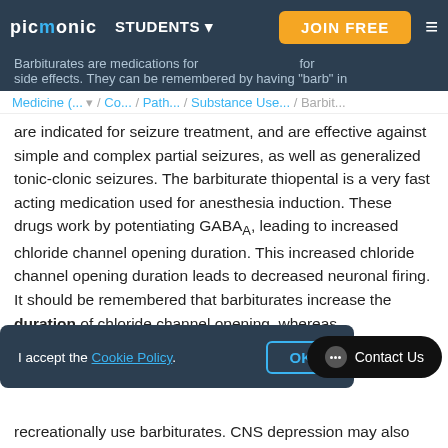picmonic | STUDENTS ▾ | JOIN FREE
Barbiturates are medications for side effects. They can be remembered by having 'barb' in
Medicine (... ▾ / Co... / Path... / Substance Use... / Barbit...
are indicated for seizure treatment, and are effective against simple and complex partial seizures, as well as generalized tonic-clonic seizures. The barbiturate thiopental is a very fast acting medication used for anesthesia induction. These drugs work by potentiating GABAA, leading to increased chloride channel opening duration. This increased chloride channel opening duration leads to decreased neuronal firing. It should be remembered that barbiturates increase the duration of chloride channel opening, whereas benzodiazepines increase the frequency of chloride channel opening. Side effects of this class of drug include sedation
s respiratory and
recreationally use barbiturates. CNS depression may also